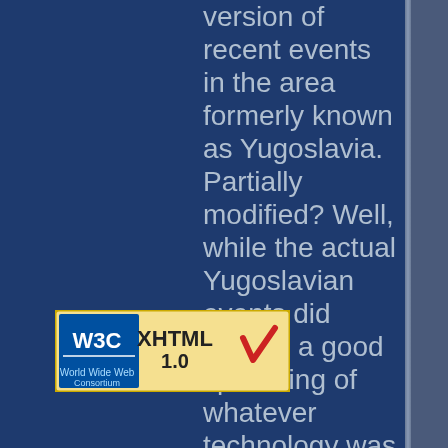version of recent events in the area formerly known as Yugoslavia. Partially modified? Well, while the actual Yugoslavian events did involve a good spattering of whatever technology was available at the time, this game seems to
[Figure (logo): W3C XHTML 1.0 validation badge with checkmark]